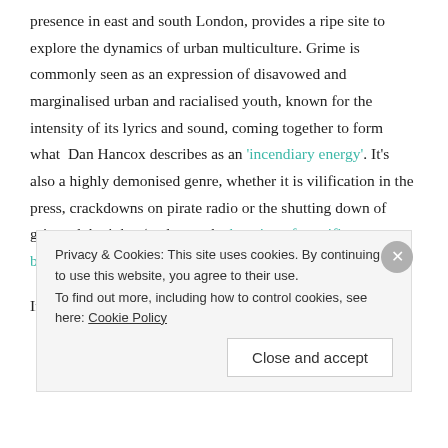presence in east and south London, provides a ripe site to explore the dynamics of urban multiculture. Grime is commonly seen as an expression of disavowed and marginalised urban and racialised youth, known for the intensity of its lyrics and sound, coming together to form what  Dan Hancox describes as an 'incendiary energy'. It's also a highly demonised genre, whether it is vilification in the press, crackdowns on pirate radio or the shutting down of grime club nights (and even the banning of specific songs being played in a venue).
In her paper 'Crossing borders, moving on: the urban
Privacy & Cookies: This site uses cookies. By continuing to use this website, you agree to their use.
To find out more, including how to control cookies, see here: Cookie Policy
Close and accept